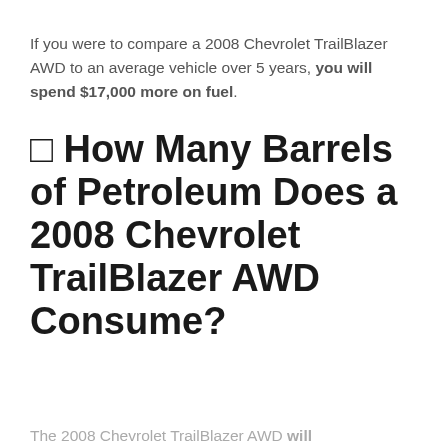If you were to compare a 2008 Chevrolet TrailBlazer AWD to an average vehicle over 5 years, you will spend $17,000 more on fuel.
⬛ How Many Barrels of Petroleum Does a 2008 Chevrolet TrailBlazer AWD Consume?
The 2008 Chevrolet TrailBlazer AWD will